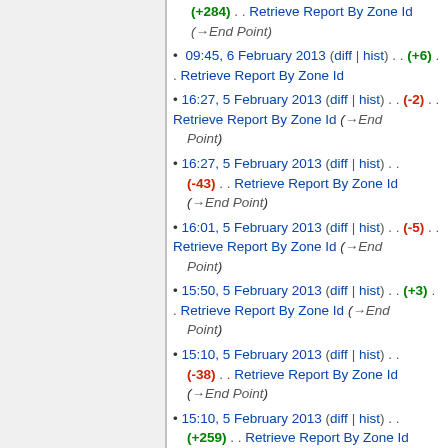(+284) . . Retrieve Report By Zone Id (→End Point)
09:45, 6 February 2013 (diff | hist) . . (+6) . . Retrieve Report By Zone Id
16:27, 5 February 2013 (diff | hist) . . (-2) . . Retrieve Report By Zone Id (→End Point)
16:27, 5 February 2013 (diff | hist) . . (-43) . . Retrieve Report By Zone Id (→End Point)
16:01, 5 February 2013 (diff | hist) . . (-5) . . Retrieve Report By Zone Id (→End Point)
15:50, 5 February 2013 (diff | hist) . . (+3) . . Retrieve Report By Zone Id (→End Point)
15:10, 5 February 2013 (diff | hist) . . (-38) . . Retrieve Report By Zone Id (→End Point)
15:10, 5 February 2013 (diff | hist) . . (+259) . . Retrieve Report By Zone Id (→End Point)
15:05, 5 February 2013 (diff | hist) . . (-9)